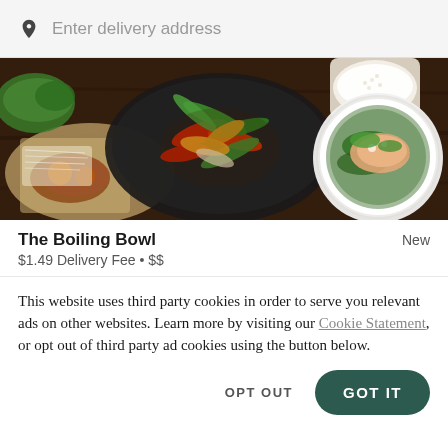Enter delivery address
[Figure (photo): Food photo showing multiple Asian dishes on a dark wooden table: colorful stir-fry with peppers and green beans in a dark bowl, a seafood soup/broth in a white bowl, white rice, and fried items on parchment paper.]
The Boiling Bowl
New
$1.49 Delivery Fee • $$
This website uses third party cookies in order to serve you relevant ads on other websites. Learn more by visiting our Cookie Statement, or opt out of third party ad cookies using the button below.
OPT OUT
GOT IT